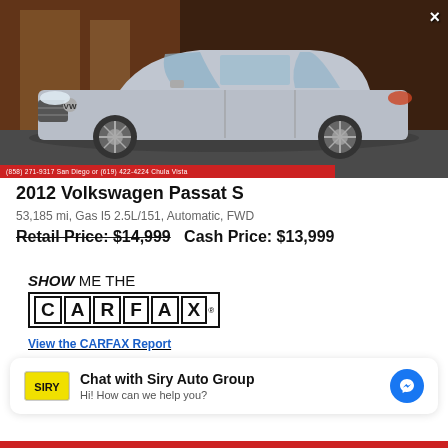[Figure (photo): Silver 2012 Volkswagen Passat S sedan photographed from the side in a parking area, with a red banner at the bottom showing phone numbers for San Diego and Chula Vista locations. A close (X) button appears in the top right.]
2012 Volkswagen Passat S
53,185 mi, Gas I5 2.5L/151, Automatic, FWD
Retail Price: $14,999  Cash Price: $13,999
[Figure (logo): SHOW ME THE CARFAX logo with View the CARFAX Report link]
Chat with Siry Auto Group
Hi! How can we help you?